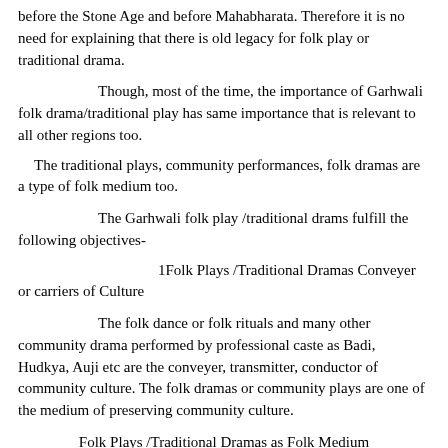before the Stone Age and before Mahabharata.  Therefore it is no need for explaining that there is old legacy for folk play or traditional drama.
Though, most of the time, the importance of Garhwali folk drama/traditional play has same importance that is relevant to all other regions too.
The traditional plays, community performances, folk dramas are a type of folk medium too.
The Garhwali folk play /traditional drams fulfill the following objectives-
1Folk Plays /Traditional Dramas Conveyer or carriers of Culture
The folk dance or folk rituals and many other community drama performed by professional caste as Badi, Hudkya, Auji etc are the conveyer, transmitter, conductor of community culture. The folk dramas or community plays are one of the medium of preserving community culture.
Folk Plays /Traditional Dramas as Folk Medium
The traditional plays, community performances, folk dramas work as effective folk medium too. The traditional plays, community performances, folk dramas supply to stake holders